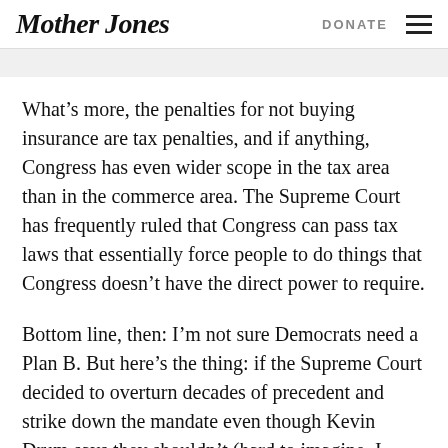Mother Jones | DONATE
What’s more, the penalties for not buying insurance are tax penalties, and if anything, Congress has even wider scope in the tax area than in the commerce area. The Supreme Court has frequently ruled that Congress can pass tax laws that essentially force people to do things that Congress doesn’t have the direct power to require.
Bottom line, then: I’m not sure Democrats need a Plan B. But here’s the thing: if the Supreme Court decided to overturn decades of precedent and strike down the mandate even though Kevin Drum says they shouldn’t (hard to imagine, I know), the